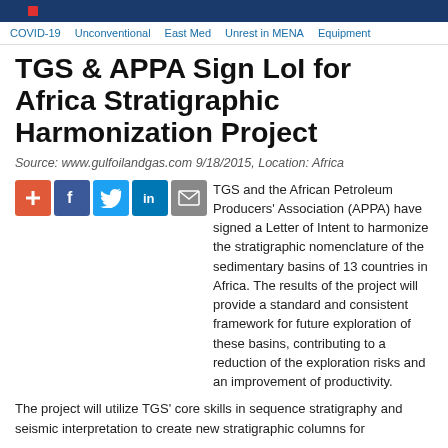COVID-19  Unconventional  East Med  Unrest in MENA  Equipment
TGS & APPA Sign LoI for Africa Stratigraphic Harmonization Project
Source: www.gulfoilandgas.com 9/18/2015, Location: Africa
[Figure (infographic): Social share buttons: plus/add, Facebook, Twitter, LinkedIn, Email]
TGS and the African Petroleum Producers' Association (APPA) have signed a Letter of Intent to harmonize the stratigraphic nomenclature of the sedimentary basins of 13 countries in Africa. The results of the project will provide a standard and consistent framework for future exploration of these basins, contributing to a reduction of the exploration risks and an improvement of productivity.
The project will utilize TGS' core skills in sequence stratigraphy and seismic interpretation to create new stratigraphic columns for